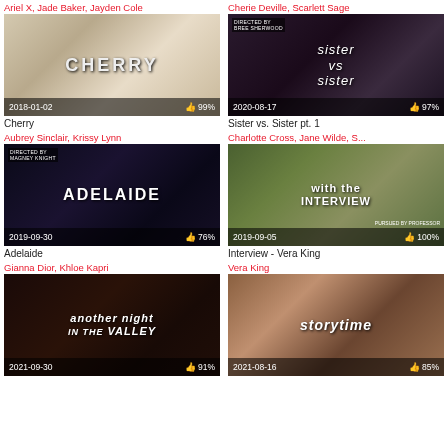Ariel X, Jade Baker, Jayden Cole
Cherie Deville, Scarlett Sage
[Figure (photo): Cherry movie thumbnail with two women, date 2018-01-02, rating 99%]
[Figure (photo): Sister vs Sister pt. 1 thumbnail, date 2020-08-17, rating 97%]
Cherry
Aubrey Sinclair, Krissy Lynn
Sister vs. Sister pt. 1
Charlotte Cross, Jane Wilde, S...
[Figure (photo): Adelaide movie thumbnail, date 2019-09-30, rating 76%]
[Figure (photo): Interview - Vera King thumbnail, date 2019-09-05, rating 100%]
Adelaide
Gianna Dior, Khloe Kapri
Interview - Vera King
Vera King
[Figure (photo): Another Night in the Valley thumbnail, date 2021-09-30, rating 91%]
[Figure (photo): Storytime thumbnail, date 2021-08-16, rating 85%]